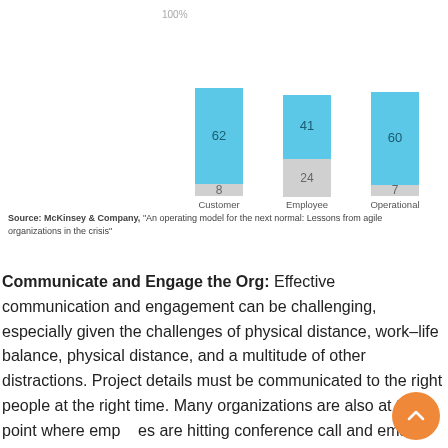[Figure (stacked-bar-chart): ]
Source: McKinsey & Company, "An operating model for the next normal: Lessons from agile organizations in the crisis"
Communicate and Engage the Org: Effective communication and engagement can be challenging, especially given the challenges of physical distance, work–life balance, physical distance, and a multitude of other distractions. Project details must be communicated to the right people at the right time. Many organizations are also at the point where employees are hitting conference call and email fatigue. Since the majority of our communications are now limited to back-to-back video calls, we must do more to ensure this keeps...